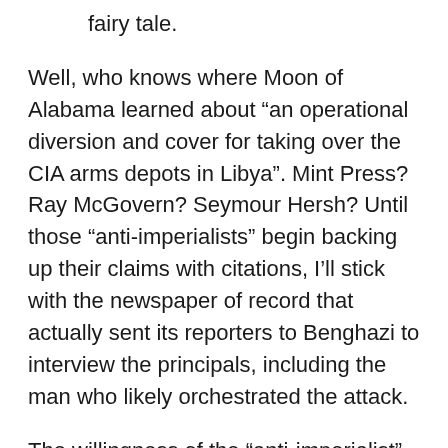fairy tale.
Well, who knows where Moon of Alabama learned about “an operational diversion and cover for taking over the CIA arms depots in Libya”. Mint Press? Ray McGovern? Seymour Hersh? Until those “anti-imperialists” begin backing up their claims with citations, I’ll stick with the newspaper of record that actually sent its reporters to Benghazi to interview the principals, including the man who likely orchestrated the attack.
The willingness of the “anti-imperialist” left to back a war on “al Qaeda” has been one of the more startling developments in recent years. Their websites and print publications were primed to support Putin’s crackdown in Chechnya and the Syrian Baathists carrying out essentially the same strategy because they saw the world